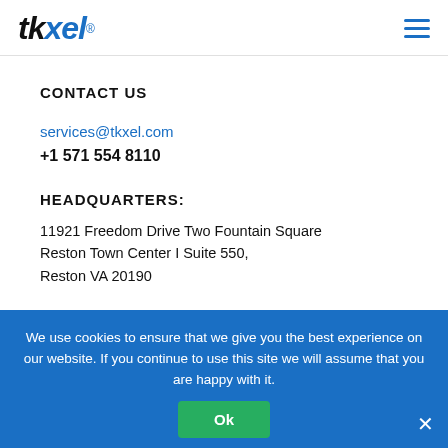tkxel
CONTACT US
services@tkxel.com
+1 571 554 8110
HEADQUARTERS:
11921 Freedom Drive Two Fountain Square
Reston Town Center I Suite 550,
Reston VA 20190
OTHER OFFICES:
London  Seattle  Boston
Poland  Lahore  Dubai
We use cookies to ensure that we give you the best experience on our website. If you continue to use this site we will assume that you are happy with it.